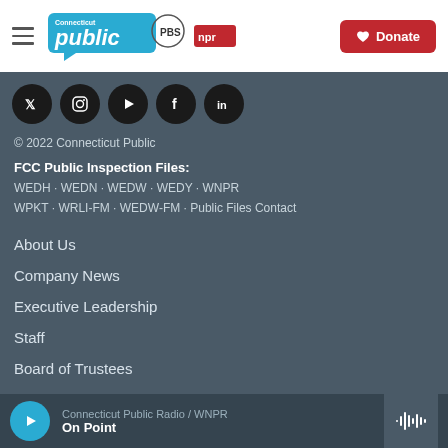Connecticut Public | PBS | NPR — Donate
[Figure (other): Social media icons row: Twitter/X, Instagram, YouTube, Facebook, LinkedIn — dark circular buttons]
© 2022 Connecticut Public
FCC Public Inspection Files: WEDH · WEDN · WEDW · WEDY · WNPR WPKT · WRLI-FM · WEDW-FM · Public Files Contact
About Us
Company News
Executive Leadership
Staff
Board of Trustees
Connecticut Public Radio / WNPR — On Point